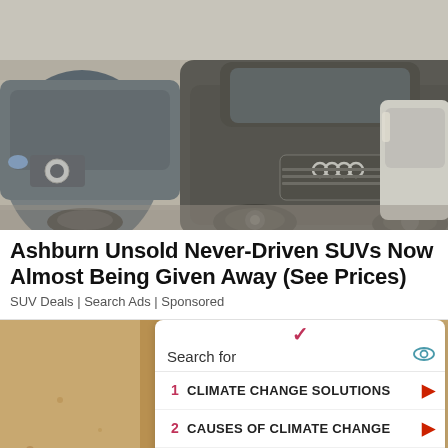[Figure (photo): Multiple SUVs parked close together, covered in dust/sand, including a dark Audi Q7 in the center foreground. Indoor or shaded parking environment.]
Ashburn Unsold Never-Driven SUVs Now Almost Being Given Away (See Prices)
SUV Deals | Search Ads | Sponsored
[Figure (screenshot): A sponsored search widget showing a checkmark/chevron icon, a 'Search for' header with an eye icon, two search items: 1. CLIMATE CHANGE SOLUTIONS and 2. CAUSES OF CLIMATE CHANGE, each with a red arrow button. Below is an Ad badge with 'Business Focus' and a blue arrow.]